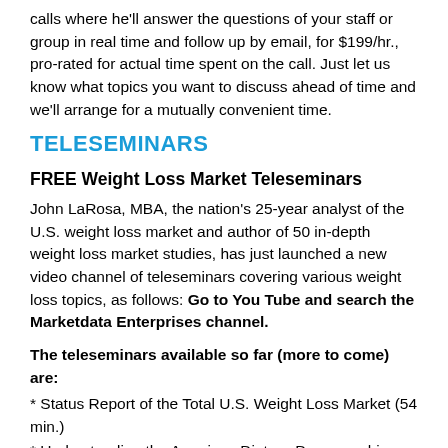calls where he'll answer the questions of your staff or group in real time and follow up by email, for $199/hr., pro-rated for actual time spent on the call. Just let us know what topics you want to discuss ahead of time and we'll arrange for a mutually convenient time.
TELESEMINARS
FREE Weight Loss Market Teleseminars
John LaRosa, MBA, the nation's 25-year analyst of the U.S. weight loss market and author of 50 in-depth weight loss market studies, has just launched a new video channel of teleseminars covering various weight loss topics, as follows: Go to You Tube and search the Marketdata Enterprises channel.
The teleseminars available so far (more to come) are:
* Status Report of the Total U.S. Weight Loss Market (54 min.)
* Understanding the American Dieter - Demographics (22 min.)